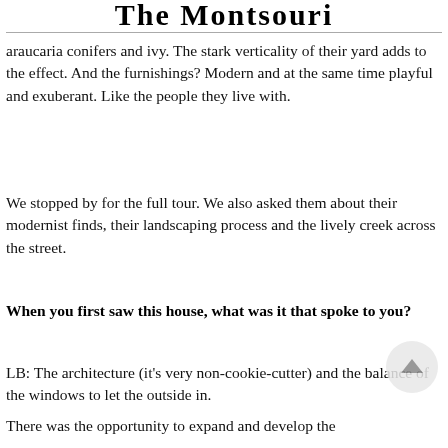The Montsouri
araucaria conifers and ivy. The stark verticality of their yard adds to the effect. And the furnishings? Modern and at the same time playful and exuberant. Like the people they live with.
We stopped by for the full tour. We also asked them about their modernist finds, their landscaping process and the lively creek across the street.
When you first saw this house, what was it that spoke to you?
LB: The architecture (it's very non-cookie-cutter) and the balance of the windows to let the outside in.
There was the opportunity to expand and develop the